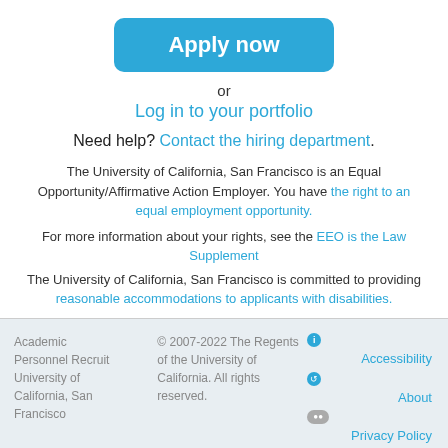[Figure (other): Blue rounded rectangle button with white text 'Apply now']
or
Log in to your portfolio
Need help? Contact the hiring department.
The University of California, San Francisco is an Equal Opportunity/Affirmative Action Employer. You have the right to an equal employment opportunity.
For more information about your rights, see the EEO is the Law Supplement
The University of California, San Francisco is committed to providing reasonable accommodations to applicants with disabilities.
See our Jeanne Clery Disclosure of Campus Security Policy and Campus Crime Statistics Act Annual Security Reports
Academic Personnel Recruit University of California, San Francisco | © 2007-2022 The Regents of the University of California. All rights reserved. | Accessibility About Privacy Policy